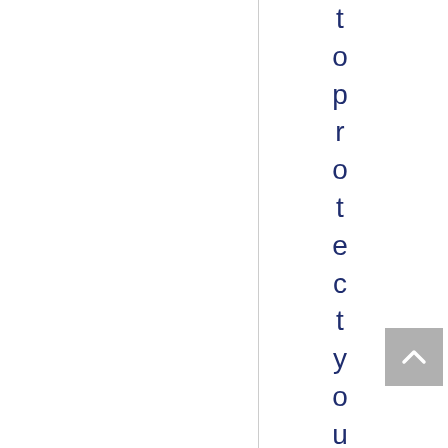toprotectyourpriv a
[Figure (other): Scroll-to-top button with upward-pointing caret icon]